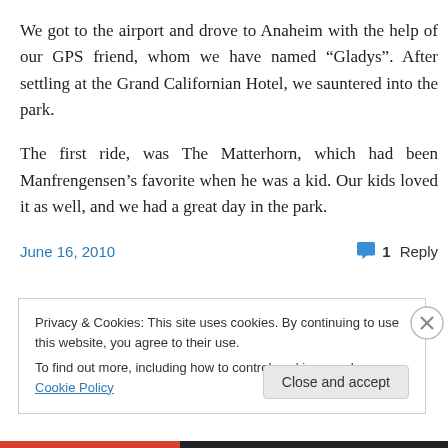We got to the airport and drove to Anaheim with the help of our GPS friend, whom we have named “Gladys”. After settling at the Grand Californian Hotel, we sauntered into the park.
The first ride, was The Matterhorn, which had been Manfrengensen’s favorite when he was a kid. Our kids loved it as well, and we had a great day in the park.
June 16, 2010
1 Reply
Privacy & Cookies: This site uses cookies. By continuing to use this website, you agree to their use.
To find out more, including how to control cookies, see here: Cookie Policy
Close and accept